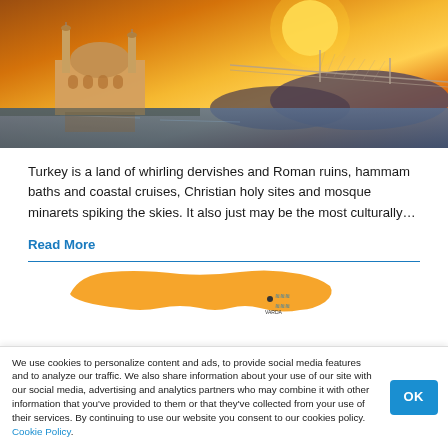[Figure (photo): Photograph of a mosque with minarets beside water at sunset, with a suspension bridge visible in the background under an orange sky]
Turkey is a land of whirling dervishes and Roman ruins, hammam baths and coastal cruises, Christian holy sites and mosque minarets spiking the skies. It also just may be the most culturally…
Read More
[Figure (map): Partial orange map of Turkey with a location marker labeled VARDA]
We use cookies to personalize content and ads, to provide social media features and to analyze our traffic. We also share information about your use of our site with our social media, advertising and analytics partners who may combine it with other information that you've provided to them or that they've collected from your use of their services. By continuing to use our website you consent to our cookies policy. Cookie Policy.